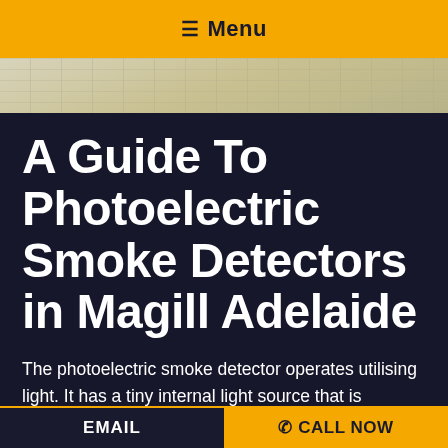☰ Menu
[Figure (photo): A background image showing architectural blueprints/technical drawings on a desk, with a pencil visible.]
A Guide To Photoelectric Smoke Detectors in Magill Adelaide
The photoelectric smoke detector operates utilising light. It has a tiny internal light source that is triggered when the alarm notes a lack of light. This type of detector is
EMAIL
✆ CALL NOW